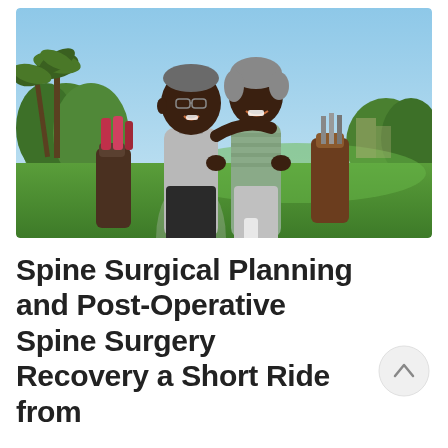[Figure (photo): An elderly African American couple smiling at a golf course. The man is wearing a light gray polo shirt and the woman is wearing a striped top. They are leaning on golf bags with pink and brown club covers. There are palm trees and a green fairway in the background under a blue sky.]
Spine Surgical Planning and Post-Operative Spine Surgery Recovery a Short Ride from